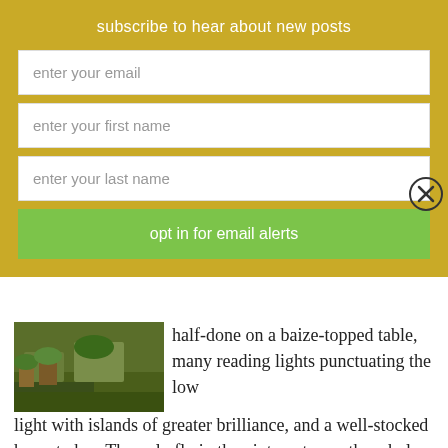subscribe to hear about new posts
enter your email
enter your first name
enter your last name
opt in for email alerts
[Figure (photo): Outdoor green landscape/field photo]
half-done on a baize-topped table, many reading lights punctuating the low light with islands of greater brilliance, and a well-stocked honesty bar. The only fly in the ointment over the whole weekend was the presence of a group on a course on ‘The Spirituality of Water’. In itself this sounded fascinating, but the course was being facilitated by someone about whom the kindest thing I can say is that